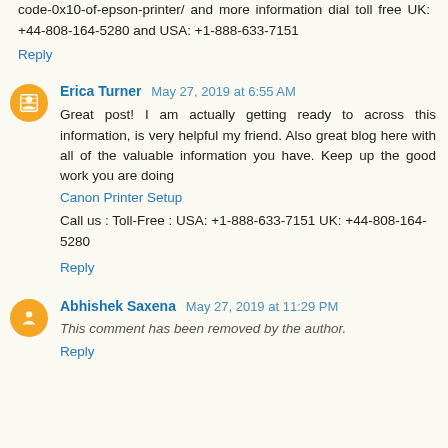code-0x10-of-epson-printer/ and more information dial toll free UK: +44-808-164-5280 and USA: +1-888-633-7151
Reply
Erica Turner May 27, 2019 at 6:55 AM
Great post! I am actually getting ready to across this information, is very helpful my friend. Also great blog here with all of the valuable information you have. Keep up the good work you are doing
Canon Printer Setup
Call us : Toll-Free : USA: +1-888-633-7151 UK: +44-808-164-5280
Reply
Abhishek Saxena May 27, 2019 at 11:29 PM
This comment has been removed by the author.
Reply